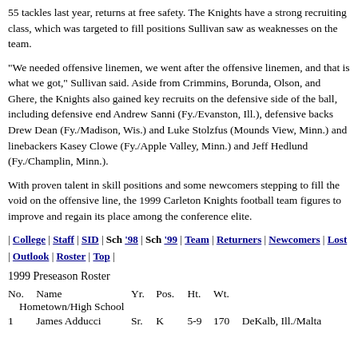55 tackles last year, returns at free safety. The Knights have a strong recruiting class, which was targeted to fill positions Sullivan saw as weaknesses on the team.
"We needed offensive linemen, we went after the offensive linemen, and that is what we got," Sullivan said. Aside from Crimmins, Borunda, Olson, and Ghere, the Knights also gained key recruits on the defensive side of the ball, including defensive end Andrew Sanni (Fy./Evanston, Ill.), defensive backs Drew Dean (Fy./Madison, Wis.) and Luke Stolzfus (Mounds View, Minn.) and linebackers Kasey Clowe (Fy./Apple Valley, Minn.) and Jeff Hedlund (Fy./Champlin, Minn.).
With proven talent in skill positions and some newcomers stepping to fill the void on the offensive line, the 1999 Carleton Knights football team figures to improve and regain its place among the conference elite.
| College | Staff | SID | Sch '98 | Sch '99 | Team | Returners | Newcomers | Lost | Outlook | Roster | Top |
1999 Preseason Roster
| No. | Name | Yr. | Pos. | Ht. | Wt. | Hometown/High School |
| --- | --- | --- | --- | --- | --- | --- |
| 1 | James Adducci | Sr. | K | 5-9 | 170 | DeKalb, Ill./Malta |